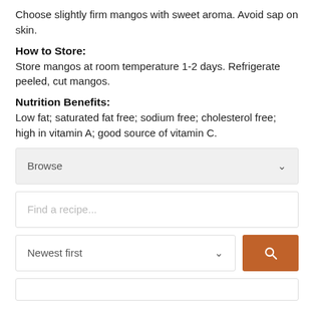Choose slightly firm mangos with sweet aroma. Avoid sap on skin.
How to Store:
Store mangos at room temperature 1-2 days. Refrigerate peeled, cut mangos.
Nutrition Benefits:
Low fat; saturated fat free; sodium free; cholesterol free; high in vitamin A; good source of vitamin C.
[Figure (other): Browse dropdown selector UI element]
[Figure (other): Find a recipe search input UI element]
[Figure (other): Newest first sort dropdown and orange search button UI elements]
[Figure (other): Bottom partial box UI element]